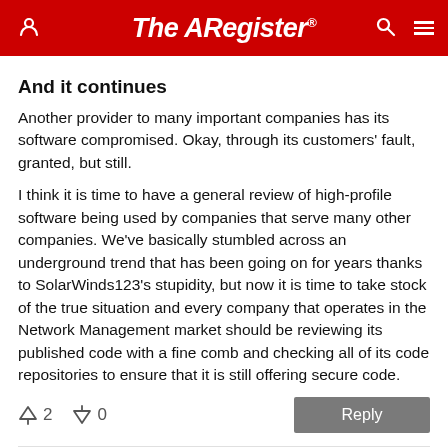The Register
And it continues
Another provider to many important companies has its software compromised. Okay, through its customers' fault, granted, but still.
I think it is time to have a general review of high-profile software being used by companies that serve many other companies. We've basically stumbled across an underground trend that has been going on for years thanks to SolarWinds123's stupidity, but now it is time to take stock of the true situation and every company that operates in the Network Management market should be reviewing its published code with a fine comb and checking all of its code repositories to ensure that it is still offering secure code.
↑2  ↓0  Reply
Tuesday 16th February 2021 20:45 GMT